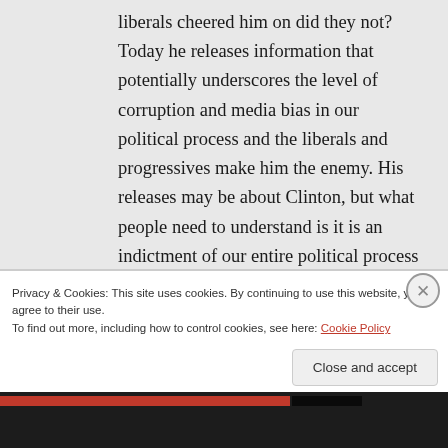liberals cheered him on did they not? Today he releases information that potentially underscores the level of corruption and media bias in our political process and the liberals and progressives make him the enemy. His releases may be about Clinton, but what people need to understand is it is an indictment of our entire political process and media for all sides
Privacy & Cookies: This site uses cookies. By continuing to use this website, you agree to their use.
To find out more, including how to control cookies, see here: Cookie Policy
Close and accept